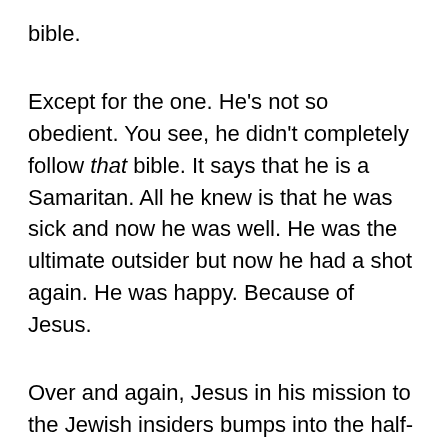bible.
Except for the one. He's not so obedient. You see, he didn't completely follow that bible. It says that he is a Samaritan. All he knew is that he was sick and now he was well. He was the ultimate outsider but now he had a shot again. He was happy. Because of Jesus.
Over and again, Jesus in his mission to the Jewish insiders bumps into the half-dead outsiders, making a mess of our sanitized ways. Here, Jesus goes beyond mercy to outsider, when he seems to become angry with the insiders who ONLY do what the bible tells them to do. They kept on